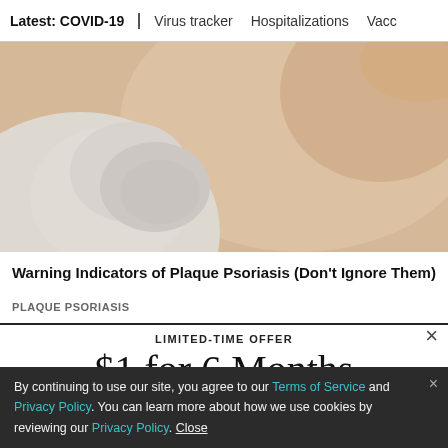Latest: COVID-19 | Virus tracker | Hospitalizations | Vacci
[Figure (photo): Close-up of a gloved hand pressing on a person's skin, related to plaque psoriasis article]
Warning Indicators of Plaque Psoriasis (Don't Ignore Them)
PLAQUE PSORIASIS
LIMITED-TIME OFFER
$1 for 6 Months
SUBSCRIBE NOW
By continuing to use our site, you agree to our Terms of Service and Privacy Policy. You can learn more about how we use cookies by reviewing our Privacy Policy. Close